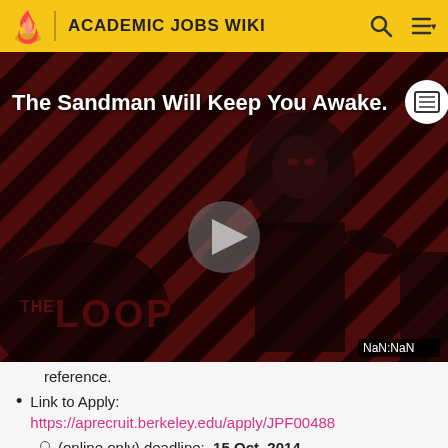ACADEMIC JOBS WIKI
[Figure (screenshot): Video thumbnail showing 'The Sandman Will Keep You Awake' with a dark-themed figure, diagonal striped background, THE LOOP branding, play button, and NaN:NaN timestamp]
reference.
Link to Apply: https://aprecruit.berkeley.edu/apply/JPF00488
(online only) deadline: 15 Oct. 2014.
Has anybody heard anything yet? Rejection e-